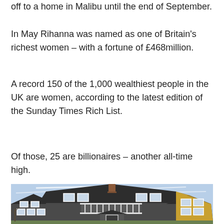off to a home in Malibu until the end of September.
In May Rihanna was named as one of Britain's richest women – with a fortune of £468million.
A record 150 of the 1,000 wealthiest people in the UK are women, according to the latest edition of the Sunday Times Rich List.
Of those, 25 are billionaires – another all-time high.
[Figure (photo): Exterior photograph of a large shingle-style house with gambrel roof, balcony, chimney, multiple white-framed windows, and a covered front entrance. Blue sky with thin clouds in background.]